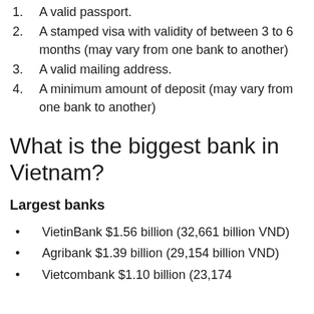1. A valid passport.
2. A stamped visa with validity of between 3 to 6 months (may vary from one bank to another)
3. A valid mailing address.
4. A minimum amount of deposit (may vary from one bank to another)
What is the biggest bank in Vietnam?
Largest banks
VietinBank $1.56 billion (32,661 billion VND)
Agribank $1.39 billion (29,154 billion VND)
Vietcombank $1.10 billion (23,174